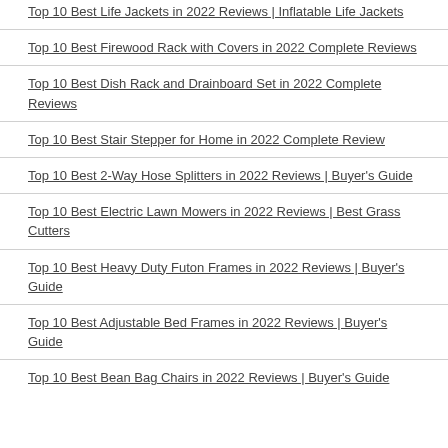Top 10 Best Life Jackets in 2022 Reviews | Inflatable Life Jackets
Top 10 Best Firewood Rack with Covers in 2022 Complete Reviews
Top 10 Best Dish Rack and Drainboard Set in 2022 Complete Reviews
Top 10 Best Stair Stepper for Home in 2022 Complete Review
Top 10 Best 2-Way Hose Splitters in 2022 Reviews | Buyer's Guide
Top 10 Best Electric Lawn Mowers in 2022 Reviews | Best Grass Cutters
Top 10 Best Heavy Duty Futon Frames in 2022 Reviews | Buyer's Guide
Top 10 Best Adjustable Bed Frames in 2022 Reviews | Buyer's Guide
Top 10 Best Bean Bag Chairs in 2022 Reviews | Buyer's Guide